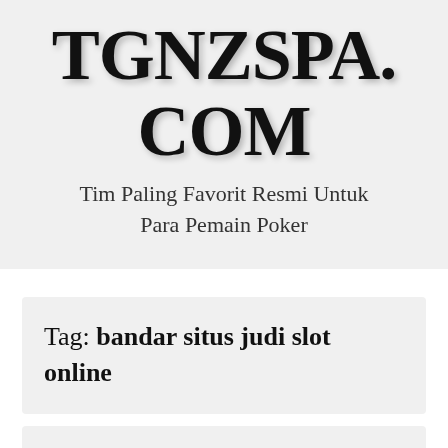TGNZSPA.COM
Tim Paling Favorit Resmi Untuk Para Pemain Poker
Tag: bandar situs judi slot online